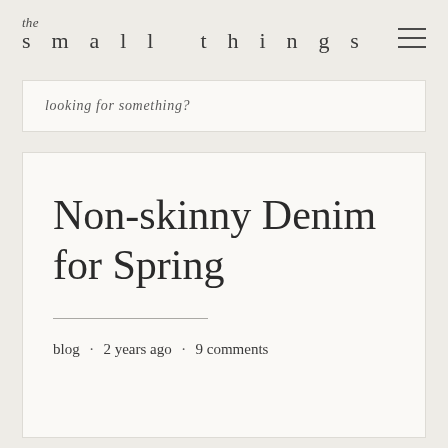the small things
looking for something?
Non-skinny Denim for Spring
blog · 2 years ago · 9 comments